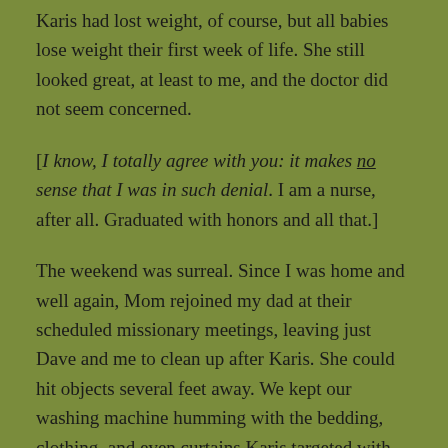Karis had lost weight, of course, but all babies lose weight their first week of life. She still looked great, at least to me, and the doctor did not seem concerned.
[I know, I totally agree with you: it makes no sense that I was in such denial. I am a nurse, after all. Graduated with honors and all that.]
The weekend was surreal. Since I was home and well again, Mom rejoined my dad at their scheduled missionary meetings, leaving just Dave and me to clean up after Karis. She could hit objects several feet away. We kept our washing machine humming with the bedding, clothing, and even curtains Karis targeted with her “throwing up.” We scrubbed walls, floors, and furniture while we waited for her system to “settle down.”